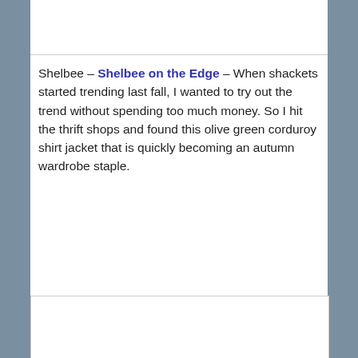[Figure (other): Top image placeholder, white box with bottom border]
Shelbee – Shelbee on the Edge – When shackets started trending last fall, I wanted to try out the trend without spending too much money. So I hit the thrift shops and found this olive green corduroy shirt jacket that is quickly becoming an autumn wardrobe staple.
[Figure (photo): Broken/loading image placeholder with small image icon in top-left corner]